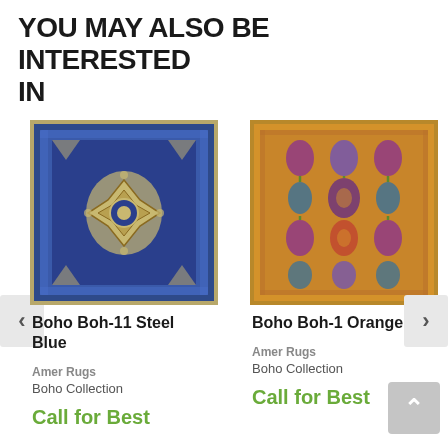YOU MAY ALSO BE INTERESTED IN
[Figure (photo): Blue medallion Persian-style area rug with intricate floral and geometric patterns on a navy blue background]
Boho Boh-11 Steel Blue
Amer Rugs
Boho Collection
Call for Best
[Figure (photo): Orange/gold Persian-style area rug with colorful floral and botanical patterns on an amber background]
Boho Boh-1 Orange
Amer Rugs
Boho Collection
Call for Best